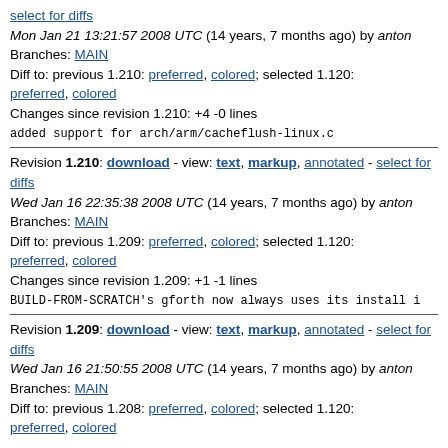select for diffs
Mon Jan 21 13:21:57 2008 UTC (14 years, 7 months ago) by anton
Branches: MAIN
Diff to: previous 1.210: preferred, colored; selected 1.120: preferred, colored
Changes since revision 1.210: +4 -0 lines
added support for arch/arm/cacheflush-linux.c
Revision 1.210: download - view: text, markup, annotated - select for diffs
Wed Jan 16 22:35:38 2008 UTC (14 years, 7 months ago) by anton
Branches: MAIN
Diff to: previous 1.209: preferred, colored; selected 1.120: preferred, colored
Changes since revision 1.209: +1 -1 lines
BUILD-FROM-SCRATCH's gforth now always uses its install i
Revision 1.209: download - view: text, markup, annotated - select for diffs
Wed Jan 16 21:50:55 2008 UTC (14 years, 7 months ago) by anton
Branches: MAIN
Diff to: previous 1.208: preferred, colored; selected 1.120: preferred, colored